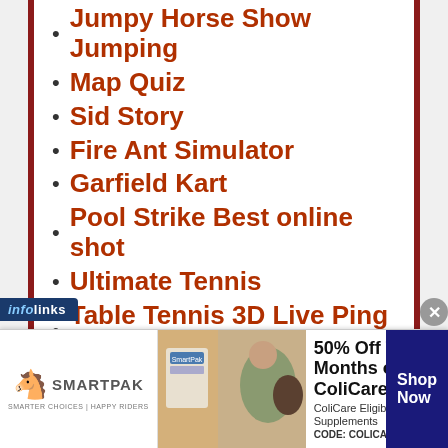Jumpy Horse Show Jumping
Map Quiz
Sid Story
Fire Ant Simulator
Garfield Kart
Pool Strike Best online shot
Ultimate Tennis
Table Tennis 3D Live Ping Pong
Crystalux New Discovery
AlphaTaire
Empires Of Sand TD
Immortal Conquest
Cake Bakery Chocolate Factory
Dead Among Us
PAC-MAN 256: Endless Maze
[Figure (screenshot): SmartPak advertisement banner: 50% Off Two Months of ColiCare, ColiCare Eligible Supplements, CODE: COLICARE10, Shop Now button]